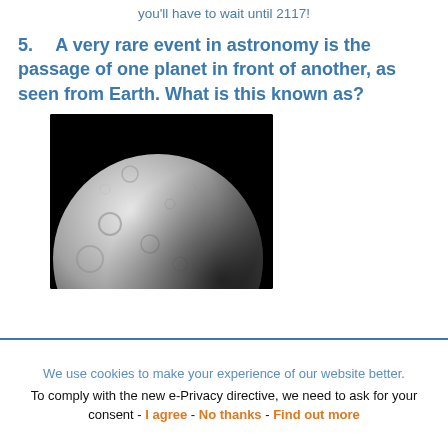you'll have to wait until 2117!
5.  A very rare event in astronomy is the passage of one planet in front of another, as seen from Earth. What is this known as?
[Figure (photo): A photograph of a cratered planetary body (Mercury) against a black space background, showing roughly the upper-left two-thirds of the planet's disc illuminated in grey-white tones.]
We use cookies to make your experience of our website better.
To comply with the new e-Privacy directive, we need to ask for your consent - I agree - No thanks - Find out more